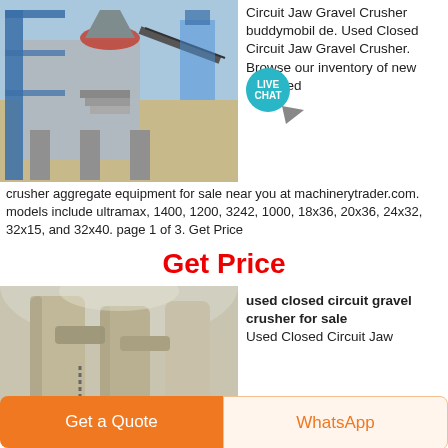[Figure (photo): Industrial crusher/gravel processing plant with blue steel frame structure, conveyor belts, and stairs outdoors]
Circuit Jaw Gravel Crusher buddymobil de. Used Closed Circuit Jaw Gravel Crusher. Browse our inventory of new and used crusher aggregate equipment for sale near you at machinerytrader.com. models include ultramax, 1400, 1200, 3242, 1000, 18x36, 20x36, 24x32, 32x15, and 32x40. page 1 of 3. Get Price
Get Price
[Figure (photo): Interior industrial shot of closed circuit gravel crusher machinery with large cylindrical pipes/tanks inside a warehouse]
used closed circuit gravel crusher for sale
Used Closed Circuit Jaw
Get a Quote
WhatsApp